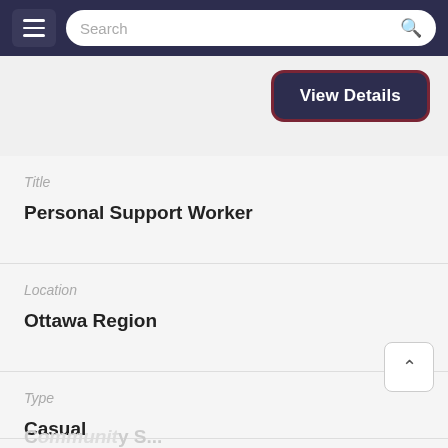Search
View Details
Title
Personal Support Worker
Location
Ottawa Region
Type
Casual
Categories